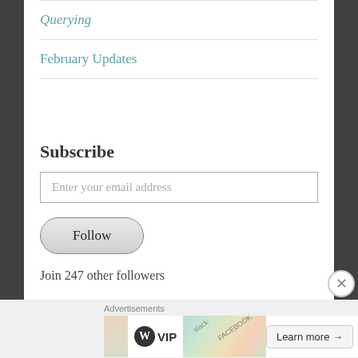Querying
February Updates
Subscribe
Enter your email address
Follow
Join 247 other followers
Advertisements
[Figure (screenshot): WordPress VIP advertisement banner with colorful overlay and Learn more button]